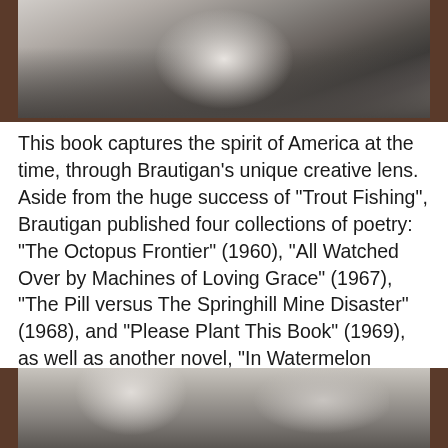[Figure (photo): Black and white photograph of a person sitting outdoors, displayed as a physical book or print with a salmon/coral pink border, resting on a wooden surface.]
This book captures the spirit of America at the time, through Brautigan's unique creative lens. Aside from the huge success of “Trout Fishing”, Brautigan published four collections of poetry: “The Octopus Frontier” (1960), “All Watched Over by Machines of Loving Grace” (1967), “The Pill versus The Springhill Mine Disaster” (1968), and “Please Plant This Book” (1969), as well as another novel, “In Watermelon Sugar” (1968) during this decade.
[Figure (photo): Vintage sepia/toned photograph showing the top of a person's head with parted hair, partially cropped at bottom of page.]